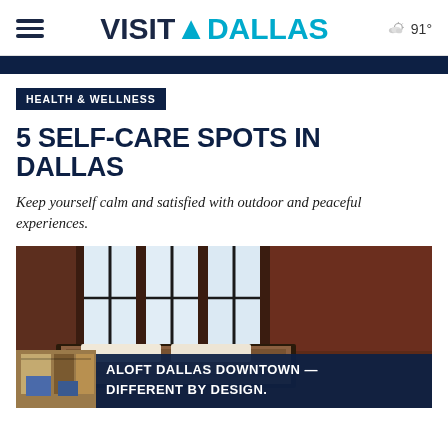VISIT DALLAS — 91°
HEALTH & WELLNESS
5 SELF-CARE SPOTS IN DALLAS
Keep yourself calm and satisfied with outdoor and peaceful experiences.
[Figure (photo): Hotel interior room with large industrial windows showing bright light, reddish-brown walls, decorated bedding. Overlay caption: ALOFT DALLAS DOWNTOWN — DIFFERENT BY DESIGN. Thumbnail image of hotel room in bottom-left corner.]